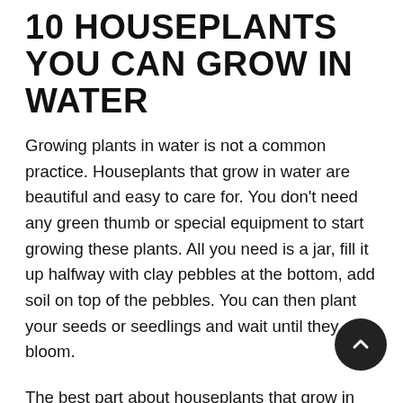10 HOUSEPLANTS YOU CAN GROW IN WATER
Growing plants in water is not a common practice. Houseplants that grow in water are beautiful and easy to care for. You don't need any green thumb or special equipment to start growing these plants. All you need is a jar, fill it up halfway with clay pebbles at the bottom, add soil on top of the pebbles. You can then plant your seeds or seedlings and wait until they bloom.
The best part about houseplants that grow in water is that they will last forever without replacing them every year like other types of plants. They are also easier to maintain...